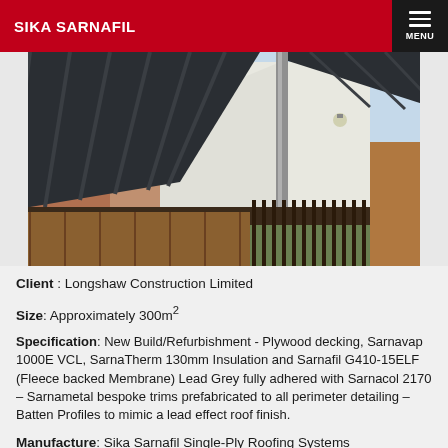SIKA SARNAFIL
[Figure (photo): Photograph of a residential building exterior showing angled roof sections with dark metal standing-seam roofing, a white rendered gable wall, a downpipe, iron railing fence in the foreground, and brick buildings in the background]
Client : Longshaw Construction Limited
Size: Approximately 300m²
Specification: New Build/Refurbishment - Plywood decking, Sarnavap 1000E VCL, SarnaTherm 130mm Insulation and Sarnafil G410-15ELF (Fleece backed Membrane) Lead Grey fully adhered with Sarnacol 2170 – Sarnametal bespoke trims prefabricated to all perimeter detailing – Batten Profiles to mimic a lead effect roof finish.
Manufacture: Sika Sarnafil Single-Ply Roofing Systems